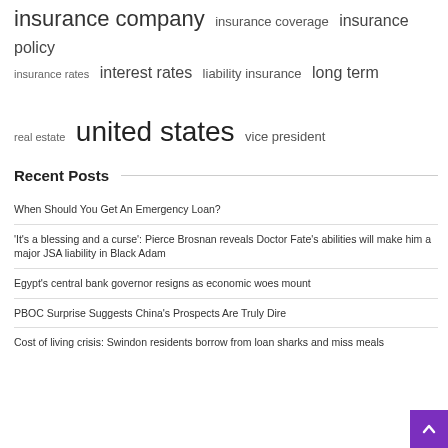insurance company  insurance coverage  insurance policy  insurance rates  interest rates  liability insurance  long term  real estate  united states  vice president
Recent Posts
When Should You Get An Emergency Loan?
'It's a blessing and a curse': Pierce Brosnan reveals Doctor Fate's abilities will make him a major JSA liability in Black Adam
Egypt's central bank governor resigns as economic woes mount
PBOC Surprise Suggests China's Prospects Are Truly Dire
Cost of living crisis: Swindon residents borrow from loan sharks and miss meals